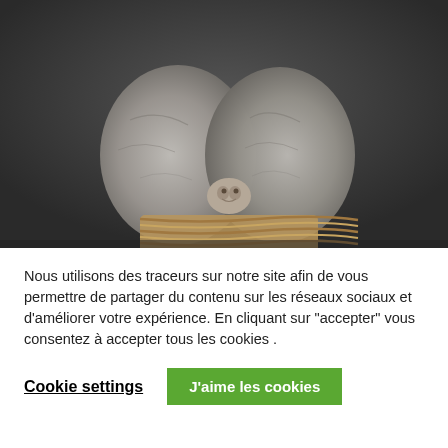[Figure (photo): Two large rounded stone or clay forms wrapped with rope at the base, with a small animal head (possibly a sheep or goat) peeking between them, against a dark grey background.]
Nous utilisons des traceurs sur notre site afin de vous permettre de partager du contenu sur les réseaux sociaux et d'améliorer votre expérience. En cliquant sur "accepter" vous consentez à accepter tous les cookies .
Cookie settings
J'aime les cookies